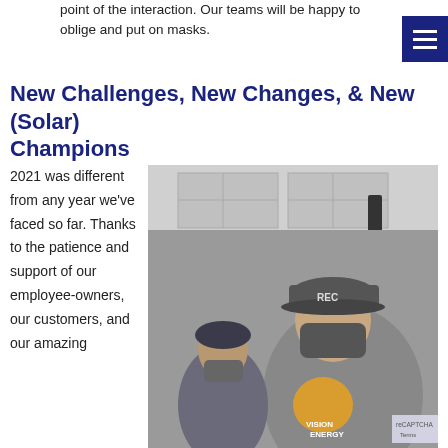point of the interaction. Our teams will be happy to oblige and put on masks.
New Challenges, New Changes, & New (Solar) Champions
2021 was different from any year we've faced so far. Thanks to the patience and support of our employee-owners, our customers, and our amazing
[Figure (photo): Two workers wearing masks and gray t-shirts, one with a cap labeled REC, appearing to do installation work indoors. The foreground worker wears a shirt with a logo reading VISION ENERGY.]